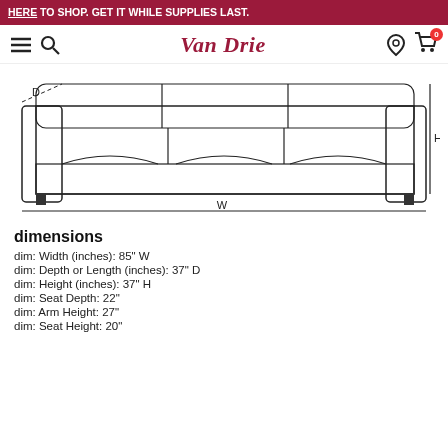HERE TO SHOP. GET IT WHILE SUPPLIES LAST.
[Figure (illustration): Van Drie logo with navigation icons (hamburger menu, search, location pin, cart with 0 badge)]
[Figure (schematic): Line drawing of a three-cushion sofa with dimension labels: D (depth, top left), H (height, right side), W (width, bottom)]
dimensions
dim: Width (inches): 85" W
dim: Depth or Length (inches): 37" D
dim: Height (inches): 37" H
dim: Seat Depth: 22"
dim: Arm Height: 27"
dim: Seat Height: 20"